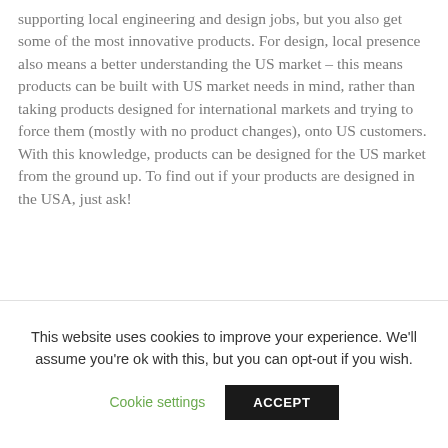supporting local engineering and design jobs, but you also get some of the most innovative products. For design, local presence also means a better understanding the US market – this means products can be built with US market needs in mind, rather than taking products designed for international markets and trying to force them (mostly with no product changes), onto US customers. With this knowledge, products can be designed for the US market from the ground up. To find out if your products are designed in the USA, just ask!
System Design: Beyond product design, especially when it comes to wireless networks, customers often require
This website uses cookies to improve your experience. We'll assume you're ok with this, but you can opt-out if you wish.
Cookie settings   ACCEPT